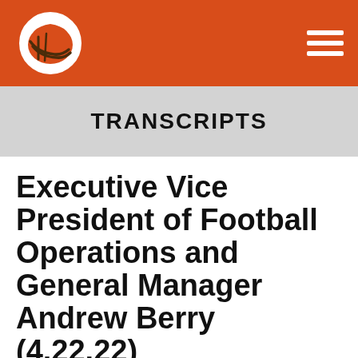[Figure (logo): Cleveland Browns NFL team logo — orange helmet with brown face mask on white circular background, on orange header bar]
TRANSCRIPTS
Executive Vice President of Football Operations and General Manager Andrew Berry (4.22.22)
Opening statement: